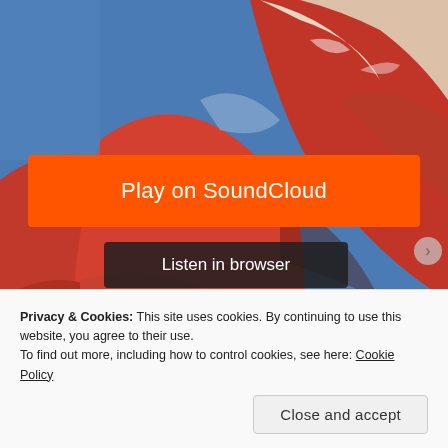[Figure (photo): Album artwork or portrait photo showing a face with red and blue tones, partially obscured]
Play on SoundCloud
Listen in browser
Privacy & Cookies: This site uses cookies. By continuing to use this website, you agree to their use.
To find out more, including how to control cookies, see here: Cookie Policy
Close and accept